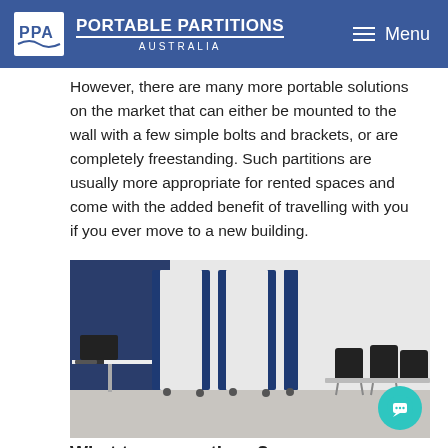PORTABLE PARTITIONS AUSTRALIA | Menu
However, there are many more portable solutions on the market that can either be mounted to the wall with a few simple bolts and brackets, or are completely freestanding. Such partitions are usually more appropriate for rented spaces and come with the added benefit of travelling with you if you ever move to a new building.
[Figure (photo): Photo of portable room partitions in an office setting. Three tall freestanding partition panels with blue and white sections on casters dividing a room. Left side has a desk with a computer monitor; right side has black chairs around a table.]
What types are there?